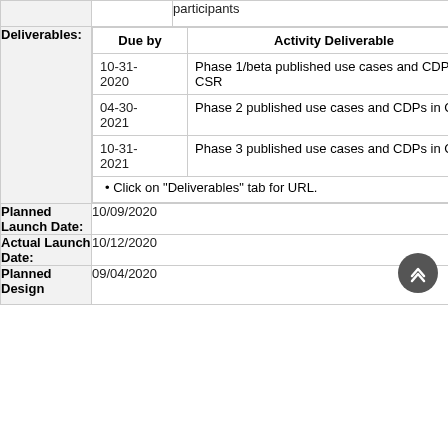|  |  | participants |
| Deliverables: | Due by / Activity Deliverable | 10-31-2020 / Phase 1/beta published use cases and CDPs in CSR | 04-30-2021 / Phase 2 published use cases and CDPs in CSR | 10-31-2021 / Phase 3 published use cases and CDPs in CSR | • Click on "Deliverables" tab for URL. |
| Planned Launch Date: | 10/09/2020 |  |
| Actual Launch Date: | 10/12/2020 |  |
| Planned Design | 09/04/2020 |  |